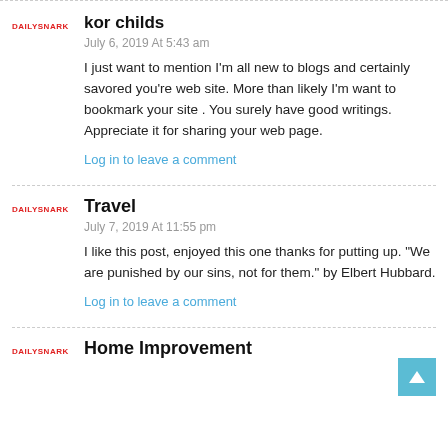kor childs
July 6, 2019 At 5:43 am
I just want to mention I'm all new to blogs and certainly savored you're web site. More than likely I'm want to bookmark your site . You surely have good writings. Appreciate it for sharing your web page.
Log in to leave a comment
Travel
July 7, 2019 At 11:55 pm
I like this post, enjoyed this one thanks for putting up. "We are punished by our sins, not for them." by Elbert Hubbard.
Log in to leave a comment
Home Improvement